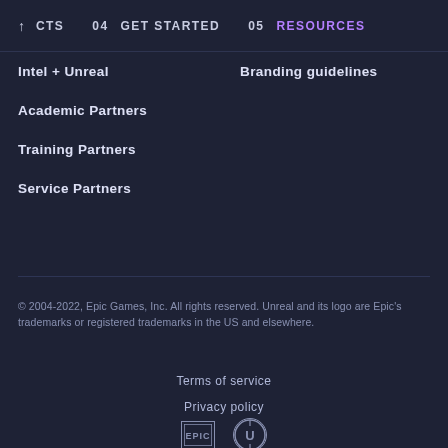↑ CTS   04 GET STARTED   05 RESOURCES
Intel + Unreal
Branding guidelines
Academic Partners
Training Partners
Service Partners
© 2004-2022, Epic Games, Inc. All rights reserved. Unreal and its logo are Epic's trademarks or registered trademarks in the US and elsewhere.
Terms of service
Privacy policy
[Figure (logo): Epic Games logo and Unreal Engine logo icons at the bottom of the page]